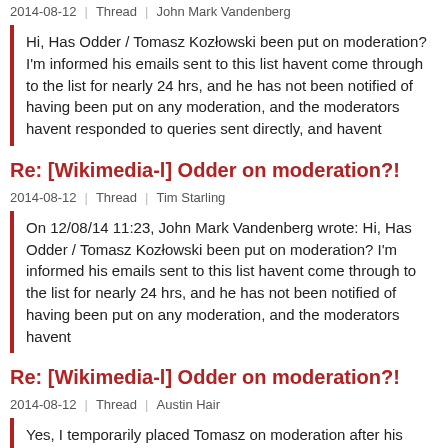2014-08-12 | Thread | John Mark Vandenberg
Hi, Has Odder / Tomasz Kozłowski been put on moderation? I'm informed his emails sent to this list havent come through to the list for nearly 24 hrs, and he has not been notified of having been put on any moderation, and the moderators havent responded to queries sent directly, and havent
Re: [Wikimedia-l] Odder on moderation?!
2014-08-12 | Thread | Tim Starling
On 12/08/14 11:23, John Mark Vandenberg wrote: Hi, Has Odder / Tomasz Kozłowski been put on moderation? I'm informed his emails sent to this list havent come through to the list for nearly 24 hrs, and he has not been notified of having been put on any moderation, and the moderators havent
Re: [Wikimedia-l] Odder on moderation?!
2014-08-12 | Thread | Austin Hair
Yes, I temporarily placed Tomasz on moderation after his personal attacks on the list. I apologize for apparently not making this clear enough with my on-list warning. I spent most of yesterday afternoon traveling home from Wikimania, and became too groggy to function. As the